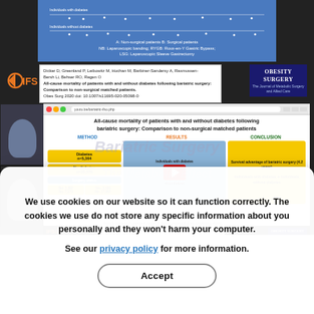[Figure (screenshot): Screenshot of a medical webinar/video presentation showing IFSO logo, a citation for a study on all-cause mortality of bariatric surgery patients, embedded video player with slide content about METHOD, RESULTS, and CONCLUSION sections, presenter thumbnails on the left, and Obesity Surgery journal logo.]
We use cookies on our website so it can function correctly. The cookies we use do not store any specific information about you personally and they won't harm your computer.
See our privacy policy for more information.
Accept